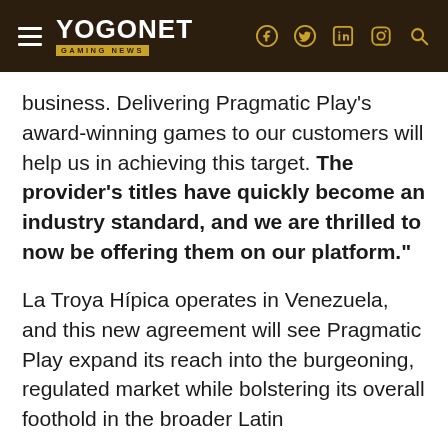YOGONET GAMING NEWS
business. Delivering Pragmatic Play's award-winning games to our customers will help us in achieving this target. The provider's titles have quickly become an industry standard, and we are thrilled to now be offering them on our platform."
La Troya Hípica operates in Venezuela, and this new agreement will see Pragmatic Play expand its reach into the burgeoning, regulated market while bolstering its overall foothold in the broader Latin